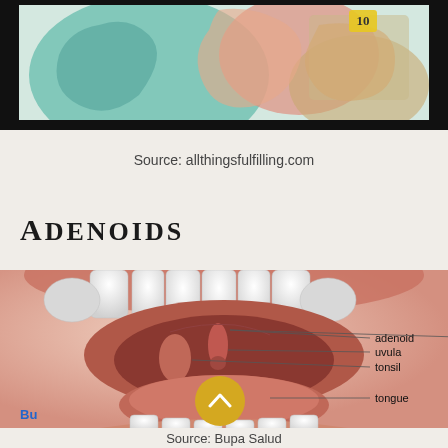[Figure (illustration): Top portion of a medical/food-related illustration with teal and reddish tones, partially visible]
Source: allthingsfulfilling.com
ADENOIDS
[Figure (engineering-diagram): Medical anatomical diagram of an open mouth showing teeth, with labeled parts: adenoid, uvula, tonsil, tongue. Labels connected by lines pointing to respective anatomical structures.]
Source: Bupa Salud